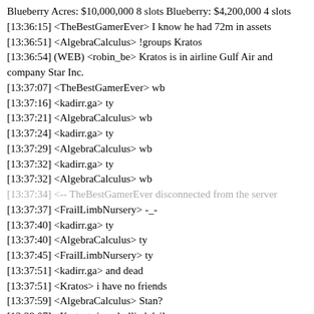Blueberry Acres: $10,000,000 8 slots Blueberry: $4,200,000 4 slots
[13:36:15] <TheBestGamerEver> I know he had 72m in assets
[13:36:51] <AlgebraCalculus> !groups Kratos
[13:36:54] (WEB) <robin_be> Kratos is in airline Gulf Air and company Star Inc.
[13:37:07] <TheBestGamerEver> wb
[13:37:16] <kadirr.ga> ty
[13:37:21] <AlgebraCalculus> wb
[13:37:24] <kadirr.ga> ty
[13:37:29] <AlgebraCalculus> wb
[13:37:32] <kadirr.ga> ty
[13:37:32] <AlgebraCalculus> wb
[13:37:34] <-- TheBestGamerEver disconnected from the server
[13:37:37] <FrailLimbNursery> -_-
[13:37:40] <kadirr.ga> ty
[13:37:40] <AlgebraCalculus> ty
[13:37:45] <FrailLimbNursery> ty
[13:37:51] <kadirr.ga> and dead
[13:37:51] <Kratos> i have no friends
[13:37:59] <AlgebraCalculus> Stan?
[13:38:07] <Kratos> i am bullied daily
[13:38:12] <Kratos> help me by donating $!
[13:38:15] --> TheBestGamerEver connected to the server
[13:38:18] <FrailLimbNursery> wb
[13:38:20] <kadirr.ga> wb